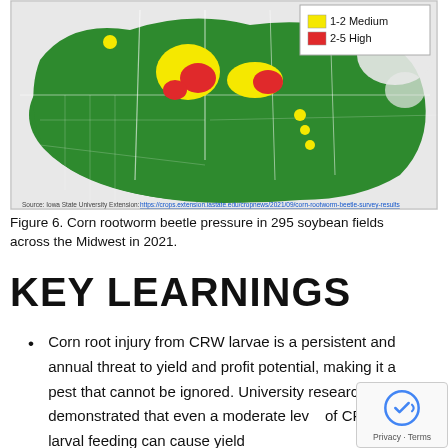[Figure (map): Map of corn rootworm beetle pressure in soybean fields across the Midwest in 2021. The map shows counties colored green (low/none), yellow (1-2 Medium), and red (2-5 High). A legend in the upper right shows yellow = 1-2 Medium, red = 2-5 High. Major yellow and red hotspots are concentrated in Nebraska/South Dakota/Iowa region. Source: Iowa State University Extension.]
Figure 6. Corn rootworm beetle pressure in 295 soybean fields across the Midwest in 2021.
KEY LEARNINGS
Corn root injury from CRW larvae is a persistent and annual threat to yield and profit potential, making it a pest that cannot be ignored. University research has demonstrated that even a moderate level of CRW larval feeding can cause yield